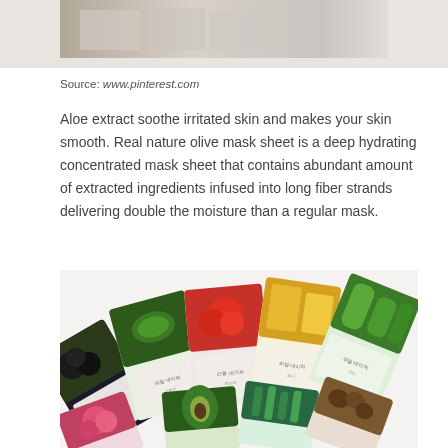[Figure (photo): Partial view of a product image at the top of the page, cropped]
Source: www.pinterest.com
Aloe extract soothe irritated skin and makes your skin smooth. Real nature olive mask sheet is a deep hydrating concentrated mask sheet that contains abundant amount of extracted ingredients infused into long fiber strands delivering double the moisture than a regular mask.
[Figure (photo): Fan-arranged Korean face mask sheet packets featuring various natural ingredients including olives, green tea, tomato, citrus, cucumber, rose, avocado, aloe, shea butter, and other botanical ingredients, displayed on a white surface.]